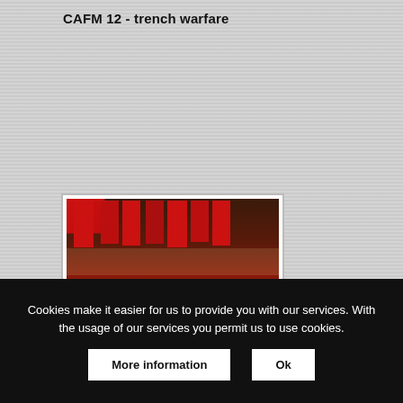CAFM 12 - trench warfare
[Figure (photo): Interior of a museum exhibition hall showing red flags/banners hanging from the ceiling, display cases along the walls, and a reddish-brown floor. The lighting is dim and warm.]
CAFM 13 - old-school exhibition halls
Cookies make it easier for us to provide you with our services. With the usage of our services you permit us to use cookies.
More information
Ok